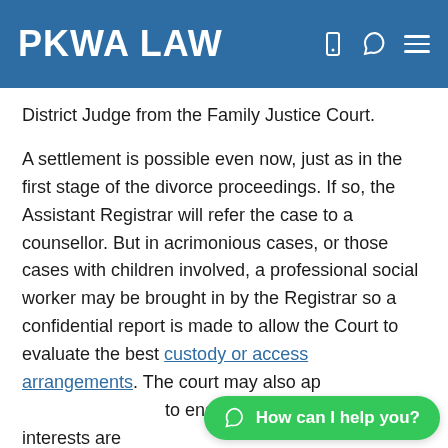PKWA LAW
District Judge from the Family Justice Court.
A settlement is possible even now, just as in the first stage of the divorce proceedings. If so, the Assistant Registrar will refer the case to a counsellor. But in acrimonious cases, or those cases with children involved, a professional social worker may be brought in by the Registrar so a confidential report is made to allow the Court to evaluate the best custody or access arrangements. The court may also ap... to ensure the children's best interests are